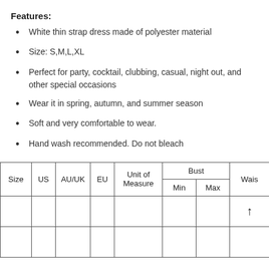Features:
White thin strap dress made of polyester material
Size: S,M,L,XL
Perfect for party, cocktail, clubbing, casual, night out, and other special occasions
Wear it in spring, autumn, and summer season
Soft and very comfortable to wear.
Hand wash recommended. Do not bleach
| Size | US | AU/UK | EU | Unit of Measure | Bust Min | Bust Max | Waist ↑ |
| --- | --- | --- | --- | --- | --- | --- | --- |
|  |  |  |  |  |  |  |  |